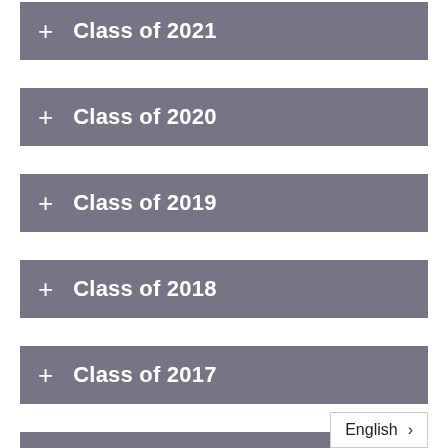+ Class of 2021
+ Class of 2020
+ Class of 2019
+ Class of 2018
+ Class of 2017
+ Class of 2016
+ Class of 2015
English >